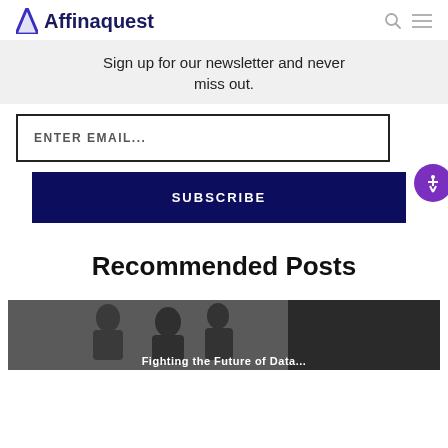Affinaquest
Sign up for our newsletter and never miss out.
ENTER EMAIL...
SUBSCRIBE
Recommended Posts
[Figure (photo): People sitting at a table in a meeting or classroom setting, partially visible at bottom of page]